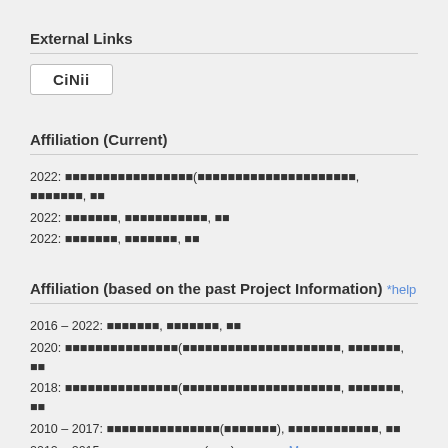External Links
[Figure (logo): CiNii logo button]
Affiliation (Current)
2022: [Japanese text affiliation line 1]
2022: [Japanese text affiliation line 2]
2022: [Japanese text affiliation line 3]
Affiliation (based on the past Project Information) *help
2016 – 2022: [Japanese text]
2020: [Japanese text]
2018: [Japanese text]
2010 – 2017: [Japanese text]
2012 – 2015: [Japanese text] ... More